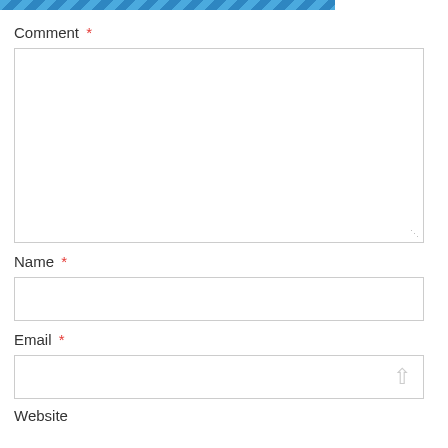[Figure (other): Blue diagonal stripe header bar]
Comment *
[Figure (other): Large comment textarea input box]
Name *
[Figure (other): Name text input field]
Email *
[Figure (other): Email text input field with scroll icon]
Website